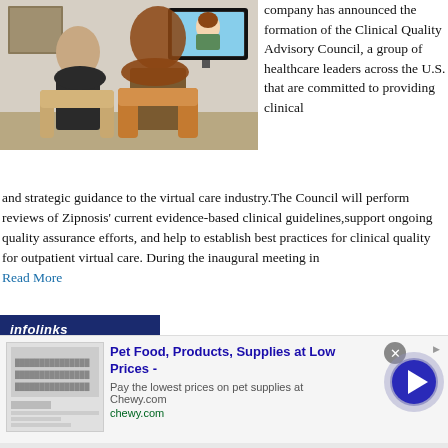[Figure (photo): Two people sitting in chairs viewed from behind, watching a telehealth video call on a wall-mounted TV screen showing a smiling person.]
company has announced the formation of the Clinical Quality Advisory Council, a group of healthcare leaders across the U.S. that are committed to providing clinical and strategic guidance to the virtual care industry.The Council will perform reviews of Zipnosis' current evidence-based clinical guidelines,support ongoing quality assurance efforts, and help to establish best practices for clinical quality for outpatient virtual care. During the inaugural meeting in
Read More
[Figure (screenshot): Infolinks advertisement bar with Chewy.com pet food ad: 'Pet Food, Products, Supplies at Low Prices - Pay the lowest prices on pet supplies at Chewy.com']